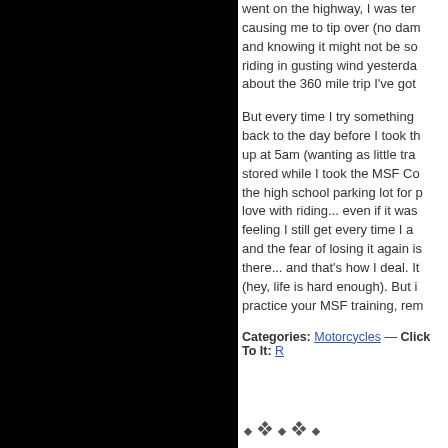[Figure (photo): Large black rectangle occupying the left half of the page]
went on the highway, I was ter causing me to tip over (no dam and knowing it might not be so riding in gusting wind yesterda about the 360 mile trip I've got
But every time I try something back to the day before I took th up at 5am (wanting as little tra stored while I took the MSF Co the high school parking lot for p love with riding... even if it was feeling I still get every time I a and the fear of losing it again is there... and that's how I deal. It (hey, life is hard enough). But i practice your MSF training, rem
Categories: Motorcycles — Click To It: R